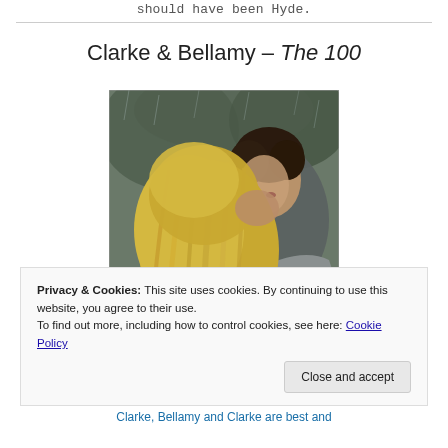should have been Hyde.
Clarke & Bellamy – The 100
[Figure (photo): Two people hugging in the rain — a woman with long blonde wet hair and a man with dark curly hair pressing his face against her shoulder, from the TV show The 100.]
Privacy & Cookies: This site uses cookies. By continuing to use this website, you agree to their use.
To find out more, including how to control cookies, see here: Cookie Policy
Close and accept
Clarke, Bellamy and Clarke are best and